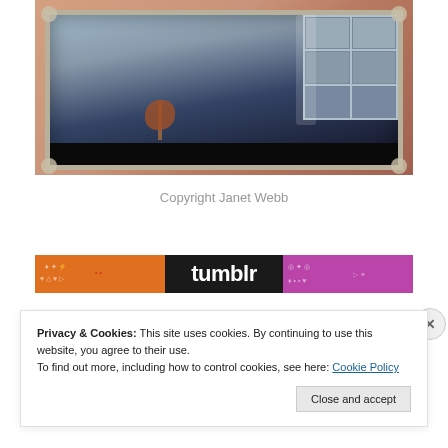[Figure (photo): A photograph of an ornate mirror on a peach/pink wall, reflecting a window with glass block panes and dried flowers/plant arrangement below it. The mirror has a decorative silver-gray frame.]
Copyright Janet Webb
[Figure (logo): Tumblr banner/logo with orange section on left with decorative icons, black center with 'tumblr' wordmark in white bold text, and purple/magenta section on right with decorative icons.]
Privacy & Cookies: This site uses cookies. By continuing to use this website, you agree to their use.
To find out more, including how to control cookies, see here: Cookie Policy
Close and accept